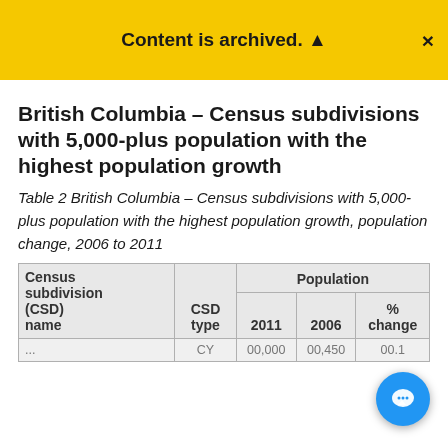Content is archived. ×
British Columbia – Census subdivisions with 5,000-plus population with the highest population growth
Table 2 British Columbia – Census subdivisions with 5,000-plus population with the highest population growth, population change, 2006 to 2011
| Census subdivision (CSD) name | CSD type | Population 2011 | Population 2006 | % change |
| --- | --- | --- | --- | --- |
| ... | CY | 00,000 | 00,450 | 00.1 |